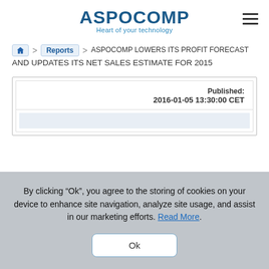ASPOCOMP — Heart of your technology
Home > Reports > ASPOCOMP LOWERS ITS PROFIT FORECAST AND UPDATES ITS NET SALES ESTIMATE FOR 2015
ASPOCOMP LOWERS ITS PROFIT FORECAST AND UPDATES ITS NET SALES ESTIMATE FOR 2015
Published: 2016-01-05 13:30:00 CET
By clicking “Ok”, you agree to the storing of cookies on your device to enhance site navigation, analyze site usage, and assist in our marketing efforts. Read More.